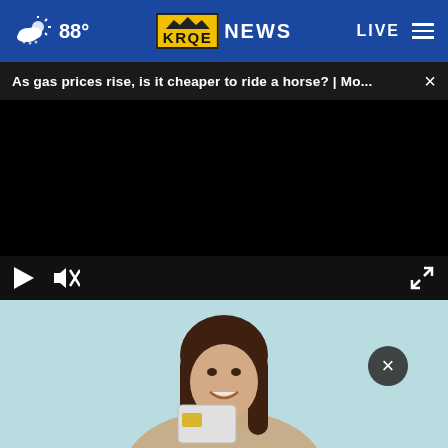KRQE NEWS | 88° | LIVE
As gas prices rise, is it cheaper to ride a horse? | Mo...
[Figure (screenshot): Video player with black screen, play button, mute button, and fullscreen button controls visible]
[Figure (photo): Woman smiling holding a credit card, light blue/teal background]